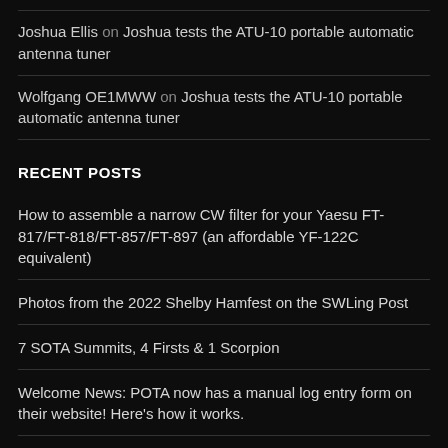Joshua Ellis on Joshua tests the ATU-10 portable automatic antenna tuner
Wolfgang OE1MWW on Joshua tests the ATU-10 portable automatic antenna tuner
RECENT POSTS
How to assemble a narrow CW filter for your Yaesu FT-817/FT-818/FT-857/FT-897 (an affordable YF-122C equivalent)
Photos from the 2022 Shelby Hamfest on the SWLing Post
7 SOTA Summits, 4 Firsts & 1 Scorpion
Welcome News: POTA now has a manual log entry form on their website! Here's how it works.
A challenging but fun POTA ATNO activation at Parc des Moulins